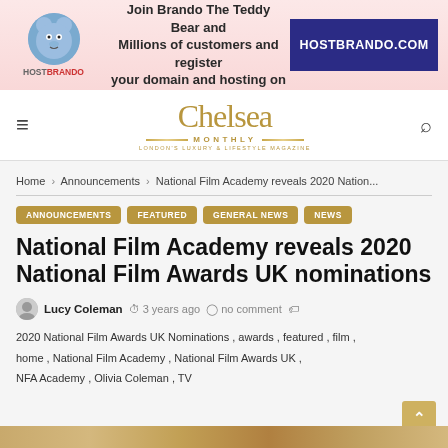[Figure (infographic): HostBrando advertisement banner with teddy bear mascot, text 'Join Brando The Teddy Bear and Millions of customers and register your domain and hosting on', and HOSTBRANDO.COM in dark blue box]
Chelsea Monthly — London's Luxury & Lifestyle Magazine
Home > Announcements > National Film Academy reveals 2020 Nation...
ANNOUNCEMENTS   FEATURED   GENERAL NEWS   NEWS
National Film Academy reveals 2020 National Film Awards UK nominations
Lucy Coleman  3 years ago  no comment
2020 National Film Awards UK Nominations , awards , featured , film , home , National Film Academy , National Film Awards UK , NFA Academy , Olivia Coleman , TV